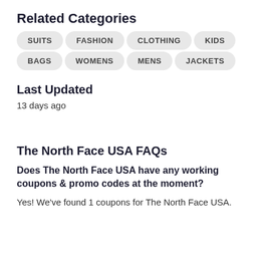Related Categories
SUITS
FASHION
CLOTHING
KIDS
BAGS
WOMENS
MENS
JACKETS
Last Updated
13 days ago
The North Face USA FAQs
Does The North Face USA have any working coupons & promo codes at the moment?
Yes! We've found 1 coupons for The North Face USA.